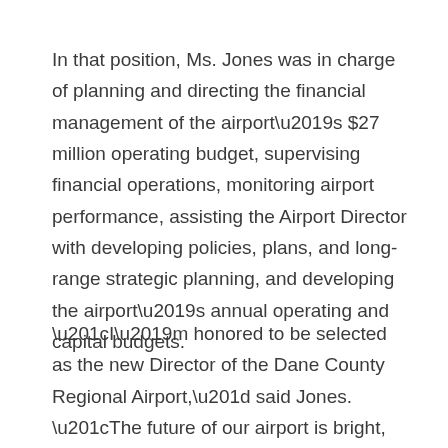In that position, Ms. Jones was in charge of planning and directing the financial management of the airport's $27 million operating budget, supervising financial operations, monitoring airport performance, assisting the Airport Director with developing policies, plans, and long-range strategic planning, and developing the airport's annual operating and capital budgets.
“I’m honored to be selected as the new Director of the Dane County Regional Airport,” said Jones. “The future of our airport is bright, and this is an